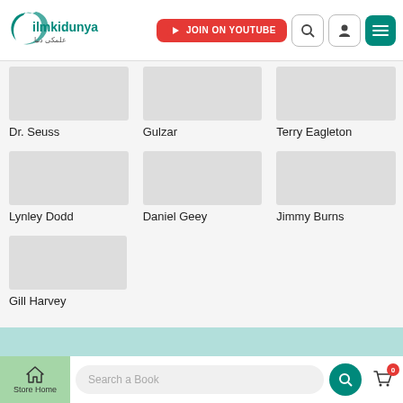[Figure (logo): ilmkidunya logo with crescent moon icon and Arabic text]
JOIN ON YOUTUBE
Dr. Seuss
Gulzar
Terry Eagleton
Lynley Dodd
Daniel Geey
Jimmy Burns
Gill Harvey
Search a Book
Store Home